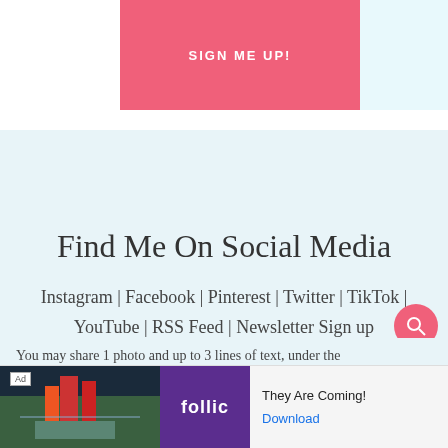[Figure (other): Pink 'SIGN ME UP!' button on a light blue background strip at the top of the page]
Find Me On Social Media
Instagram | Facebook | Pinterest | Twitter | TikTok | YouTube | RSS Feed | Newsletter Sign up
You may share 1 photo and up to 3 lines of text, under the
[Figure (other): Advertisement banner: 'They Are Coming!' by Follic with Download link]